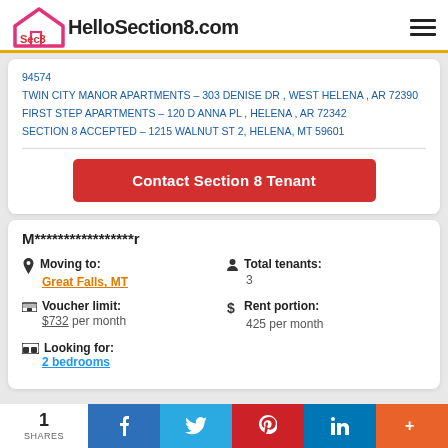HelloSection8.com
94574
TWIN CITY MANOR APARTMENTS – 303 DENISE DR , WEST HELENA , AR 72390
FIRST STEP APARTMENTS – 120 D ANNA PL , HELENA , AR 72342
SECTION 8 ACCEPTED – 1215 WALNUT ST 2, HELENA, MT 59601
Contact Section 8 Tenant
M*****************r
Moving to: Great Falls, MT
Total tenants: 3
Voucher limit: $732 per month
Rent portion: 425 per month
Looking for: 2 bedrooms
1 SHARES | f | t | p | in | +